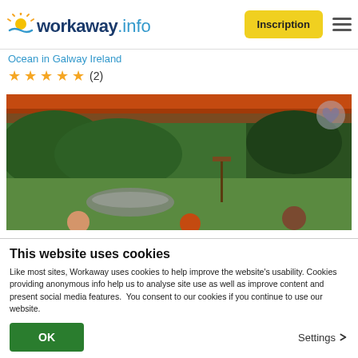[Figure (logo): Workaway.info logo with sun icon in header]
Ocean in Galway Ireland
★★★★★ (2)
[Figure (photo): Garden scene viewed from under a wooden pergola with orange awning, showing lush green hedges, lawn with trampoline, bird feeder, and people in the foreground]
This website uses cookies
Like most sites, Workaway uses cookies to help improve the website's usability. Cookies providing anonymous info help us to analyse site use as well as improve content and present social media features.  You consent to our cookies if you continue to use our website.
OK
Settings